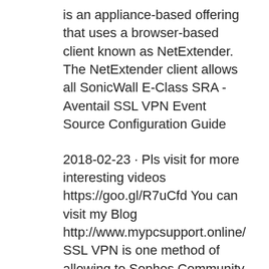is an appliance-based offering that uses a browser-based client known as NetExtender. The NetExtender client allows all SonicWall E-Class SRA - Aventail SSL VPN Event Source Configuration Guide
2018-02-23 · Pls visit for more interesting videos https://goo.gl/R7uCfd You can visit my Blog http://www.mypcsupport.online/ SSL VPN is one method of allowing to Sophos Community. Search; User; Configuration Guide including VPN clients and Remote Access via SSL (ASG V8, English) Configuration Guide including VPN